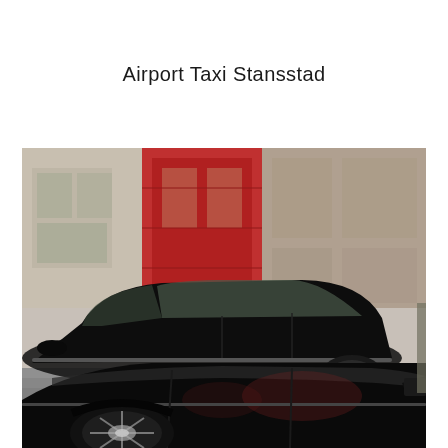Airport Taxi Stansstad
[Figure (photo): Two black luxury sedan cars parked on a street, with blurred storefront buildings in the background including a red facade. The cars appear to be high-end vehicles photographed from a slight side angle.]